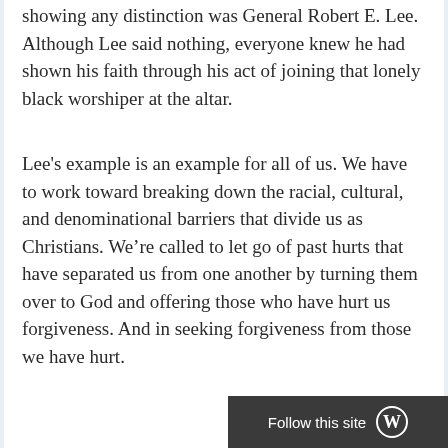showing any distinction was General Robert E. Lee. Although Lee said nothing, everyone knew he had shown his faith through his act of joining that lonely black worshiper at the altar.
Lee's example is an example for all of us. We have to work toward breaking down the racial, cultural, and denominational barriers that divide us as Christians. We're called to let go of past hurts that have separated us from one another by turning them over to God and offering those who have hurt us forgiveness. And in seeking forgiveness from those we have hurt.
Follow this site